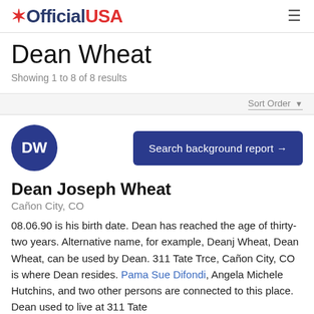OfficialUSA
Dean Wheat
Showing 1 to 8 of 8 results
Sort Order
DW
Search background report →
Dean Joseph Wheat
Cañon City, CO
08.06.90 is his birth date. Dean has reached the age of thirty-two years. Alternative name, for example, Deanj Wheat, Dean Wheat, can be used by Dean. 311 Tate Trce, Cañon City, CO is where Dean resides. Pama Sue Difondi, Angela Michele Hutchins, and two other persons are connected to this place. Dean used to live at 311 Tate